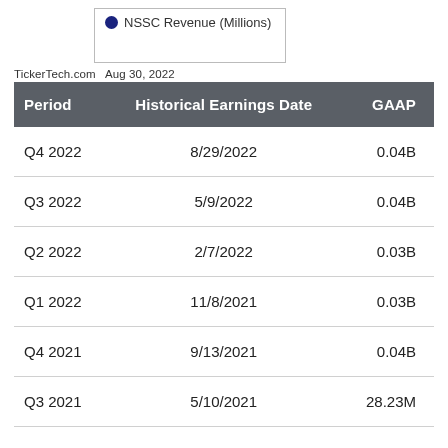[Figure (other): Legend box showing NSSC Revenue (Millions) with a filled dark blue circle marker]
TickerTech.com  Aug 30, 2022
| Period | Historical Earnings Date | GAAP |
| --- | --- | --- |
| Q4 2022 | 8/29/2022 | 0.04B |
| Q3 2022 | 5/9/2022 | 0.04B |
| Q2 2022 | 2/7/2022 | 0.03B |
| Q1 2022 | 11/8/2021 | 0.03B |
| Q4 2021 | 9/13/2021 | 0.04B |
| Q3 2021 | 5/10/2021 | 28.23M |